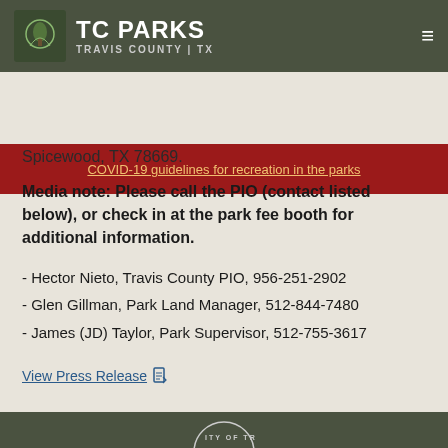TC PARKS TRAVIS COUNTY | TX
COVID-19 guidelines for recreation in the parks
Spicewood, TX 78669.
Media note: Please call the PIO (contact listed below), or check in at the park fee booth for additional information.
- Hector Nieto, Travis County PIO, 956-251-2902
- Glen Gillman, Park Land Manager, 512-844-7480
- James (JD) Taylor, Park Supervisor, 512-755-3617
View Press Release